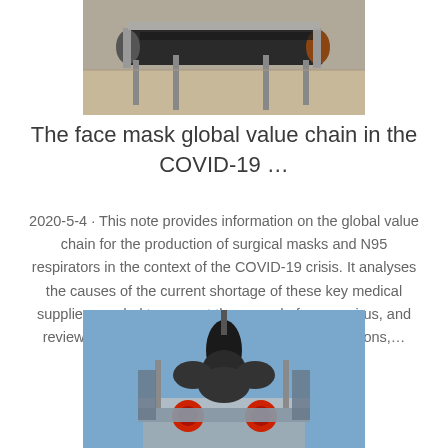[Figure (photo): Industrial conveyor belt machinery on warehouse floor]
The face mask global value chain in the COVID-19 ...
2020-5-4 · This note provides information on the global value chain for the production of surgical masks and N95 respirators in the context of the COVID-19 crisis. It analyses the causes of the current shortage of these key medical supplies needed to prevent the spread of coronavirus, and reviews some short-term and long-term policy options,...
[Figure (photo): Industrial equipment or machinery photographed from below against blue sky]